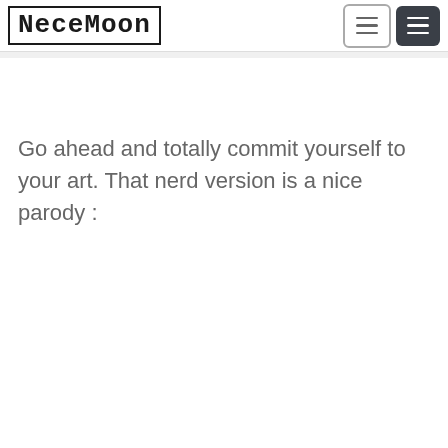[Figure (logo): NeceMoon logo text in outlined monospace font with border]
Go ahead and totally commit yourself to your art. That nerd version is a nice parody :